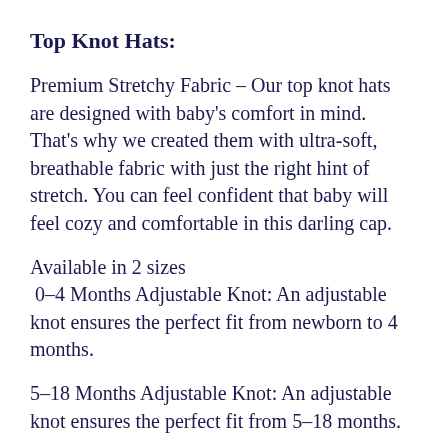Top Knot Hats:
Premium Stretchy Fabric – Our top knot hats are designed with baby's comfort in mind. That's why we created them with ultra-soft, breathable fabric with just the right hint of stretch. You can feel confident that baby will feel cozy and comfortable in this darling cap.
Available in 2 sizes
0–4 Months Adjustable Knot: An adjustable knot ensures the perfect fit from newborn to 4 months.
5–18 Months Adjustable Knot: An adjustable knot ensures the perfect fit from 5–18 months.
High Quality and Trendy Designs – At Copper Pearl